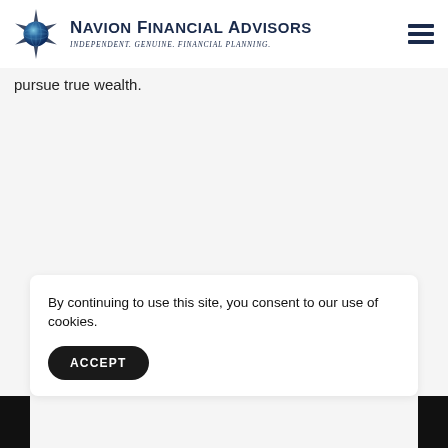[Figure (logo): Navion Financial Advisors logo with compass star icon, company name, and tagline 'Independent. Genuine. Financial Planning.']
pursue true wealth.
By continuing to use this site, you consent to our use of cookies.